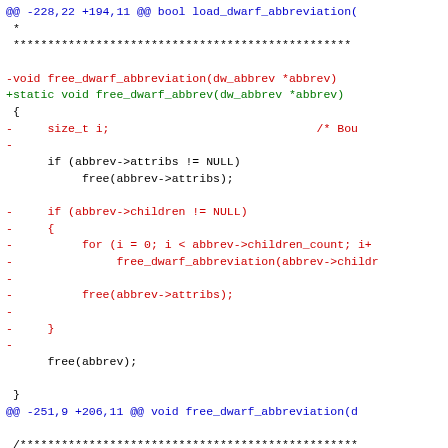[Figure (screenshot): A diff/patch view of C source code showing changes to dwarf abbreviation functions. Lines prefixed with '-' are shown in red (removed), lines prefixed with '+' are shown in green (added), context lines are black, and diff headers (@@ ... @@) are in blue.]